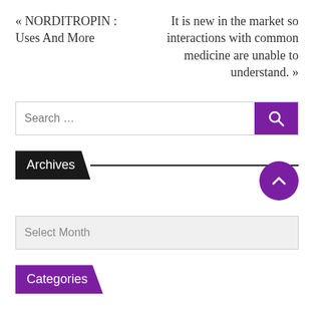« NORDITROPIN : Uses And More
It is new in the market so interactions with common medicine are unable to understand. »
Search …
Archives
Select Month
Categories